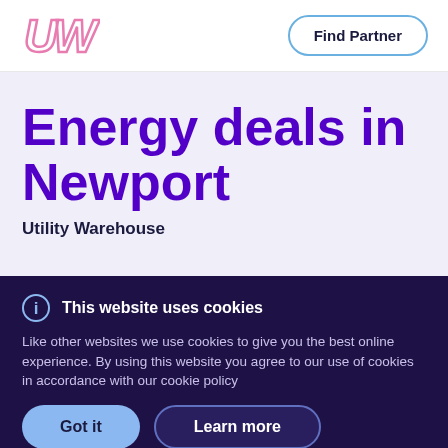[Figure (logo): UW (Utility Warehouse) logo in pink/magenta outline italic letters]
Find Partner
Energy deals in Newport
Utility Warehouse
This website uses cookies
Like other websites we use cookies to give you the best online experience. By using this website you agree to our use of cookies in accordance with our cookie policy
Got it
Learn more